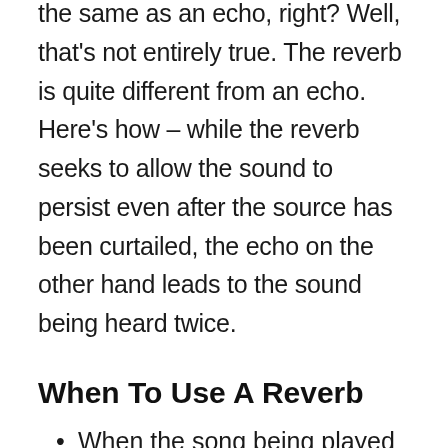the same as an echo, right? Well, that's not entirely true. The reverb is quite different from an echo. Here's how – while the reverb seeks to allow the sound to persist even after the source has been curtailed, the echo on the other hand leads to the sound being heard twice.
When To Use A Reverb
When the song being played is